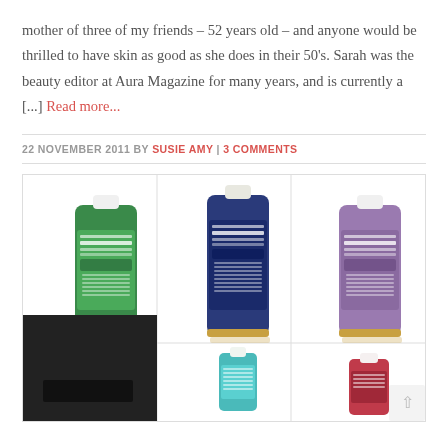mother of three of my friends – 52 years old – and anyone would be thrilled to have skin as good as she does in their 50's. Sarah was the beauty editor at Aura Magazine for many years, and is currently a [...] Read more...
22 NOVEMBER 2011 BY SUSIE AMY | 3 COMMENTS
[Figure (photo): Grid of Dr. Bronner's liquid castile soap bottles in various scents/colors: green (almond), blue/navy (peppermint), purple (lavender) in top row; partial bottles visible in bottom row. A dark overlay partially covers the leftmost column at the bottom.]